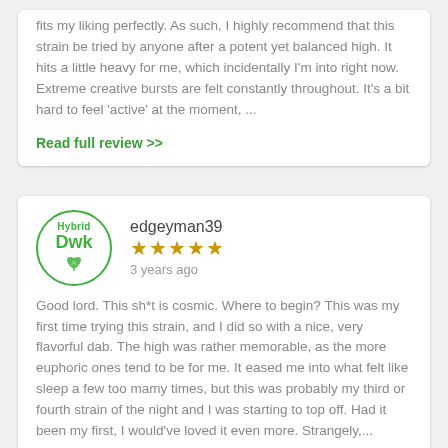fits my liking perfectly. As such, I highly recommend that this strain be tried by anyone after a potent yet balanced high. It hits a little heavy for me, which incidentally I'm into right now. Extreme creative bursts are felt constantly throughout. It's a bit hard to feel 'active' at the moment, ...
Read full review >>
[Figure (logo): Circular badge with 'Hybrid' at top and 'Dwk' in green text with cannabis leaf icon]
edgeyman39
★★★★★ (5 stars)
3 years ago
Good lord. This sh*t is cosmic. Where to begin? This was my first time trying this strain, and I did so with a nice, very flavorful dab. The high was rather memorable, as the more euphoric ones tend to be for me. It eased me into what felt like sleep a few too mamy times, but this was probably my third or fourth strain of the night and I was starting to top off. Had it been my first, I would've loved it even more. Strangely,...
Read full review >>